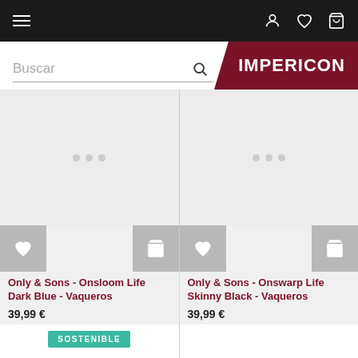Impericon - navigation bar with hamburger menu, user, wishlist, cart icons
[Figure (screenshot): Search bar with Buscar placeholder and Impericon logo banner in dark red]
[Figure (photo): Only & Sons - Onsloom Life Dark Blue - Vaqueros product image placeholder with loading dots]
[Figure (photo): Only & Sons - Onswarp Life Skinny Black - Vaqueros product image placeholder with loading dots]
Only & Sons - Onsloom Life Dark Blue - Vaqueros
39,99 €
Only & Sons - Onswarp Life Skinny Black - Vaqueros
39,99 €
SOSTENIBLE